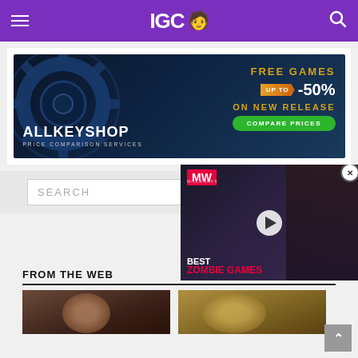IGC 🧑 [navigation bar]
[Figure (screenshot): Allkeyshop advertisement banner: gear/cog image on dark blue background, text 'ALLKEYSHOP PRICE COMPARISON SERVICES', 'FREE GAMES UP TO -50% ON NEW RELEASE', green 'COMPARE PRICES' button]
[Figure (screenshot): MW (Millworks) video overlay showing 'BEST ZOMBIE GAMES' with play button, over a dark game scene with a character]
SEARCH
FROM THE WEB
by ZergNet
[Figure (photo): Partial thumbnail of a person's face, dark/brown tones]
[Figure (photo): Partial thumbnail with golden/yellow tones]